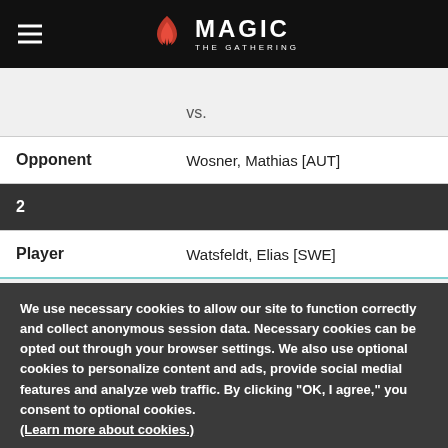MAGIC THE GATHERING
|  | vs. |
| Opponent | Wosner, Mathias [AUT] |
| 2 |  |
| Player | Watsfeldt, Elias [SWE] |
We use necessary cookies to allow our site to function correctly and collect anonymous session data. Necessary cookies can be opted out through your browser settings. We also use optional cookies to personalize content and ads, provide social medial features and analyze web traffic. By clicking "OK, I agree," you consent to optional cookies. (Learn more about cookies.)
OK, I agree   No, thanks